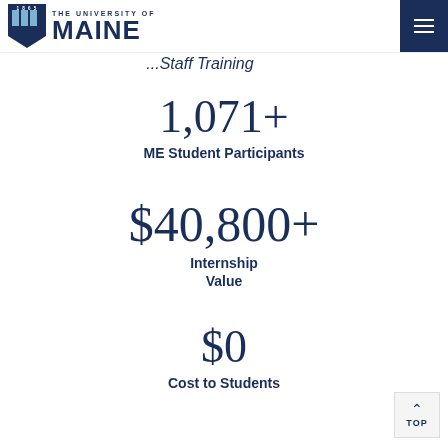[Figure (logo): University of Maine logo with shield and text '1865 THE UNIVERSITY OF MAINE']
...Staff Training
1,071+
ME Student Participants
$40,800+
Internship Value
$0
Cost to Students